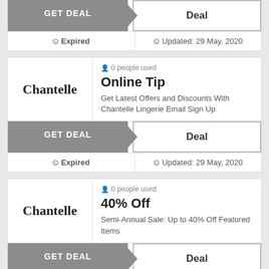GET DEAL | Deal
⊙ Expired | ⊙ Updated: 29 May, 2020
0 people used
Online Tip
Get Latest Offers and Discounts With Chantelle Lingerie Email Sign Up
GET DEAL | Deal
⊙ Expired | ⊙ Updated: 29 May, 2020
0 people used
40% Off
Semi-Annual Sale: Up to 40% Off Featured Items
GET DEAL | Deal
⊙ Expired | ⊙ Updated: 05 Nov, 2020